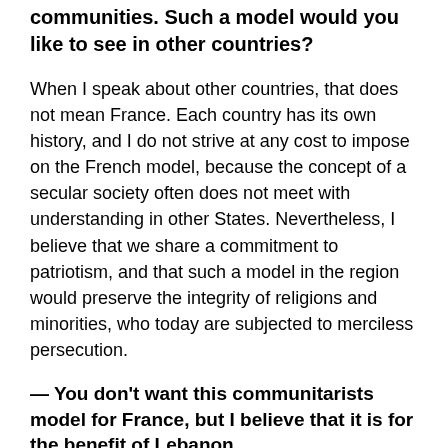communities. Such a model would you like to see in other countries?
When I speak about other countries, that does not mean France. Each country has its own history, and I do not strive at any cost to impose on the French model, because the concept of a secular society often does not meet with understanding in other States. Nevertheless, I believe that we share a commitment to patriotism, and that such a model in the region would preserve the integrity of religions and minorities, who today are subjected to merciless persecution.
— You don't want this communitarists model for France, but I believe that it is for the benefit of Lebanon…
— I don't think that in Lebanon there is communitarianism. If the Lebanese people feel